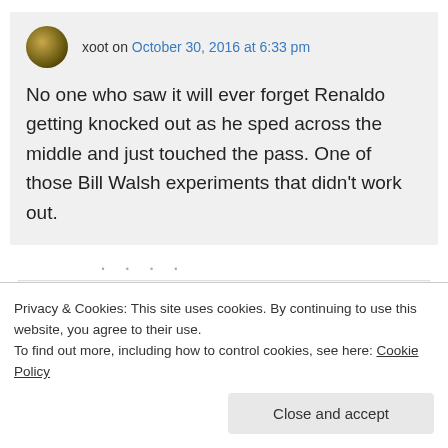xoot on October 30, 2016 at 6:33 pm
No one who saw it will ever forget Renaldo getting knocked out as he sped across the middle and just touched the pass. One of those Bill Walsh experiments that didn't work out.
[Figure (screenshot): Partial view of a GET THE APP banner with WordPress logo icon]
Privacy & Cookies: This site uses cookies. By continuing to use this website, you agree to their use.
To find out more, including how to control cookies, see here: Cookie Policy
Close and accept